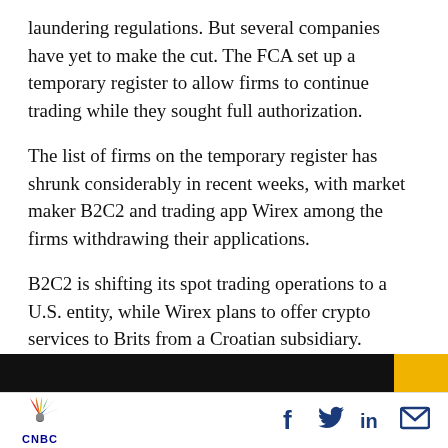laundering regulations. But several companies have yet to make the cut. The FCA set up a temporary register to allow firms to continue trading while they sought full authorization.
The list of firms on the temporary register has shrunk considerably in recent weeks, with market maker B2C2 and trading app Wirex among the firms withdrawing their applications.
B2C2 is shifting its spot trading operations to a U.S. entity, while Wirex plans to offer crypto services to Brits from a Croatian subsidiary.
[Figure (screenshot): CNBC page footer with black and yellow bar, CNBC peacock logo, and social media icons (Facebook, Twitter, LinkedIn, Email)]